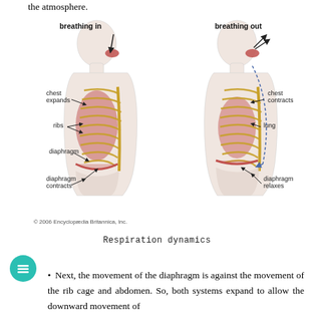the atmosphere.
[Figure (illustration): Two anatomical diagrams showing breathing in (left) and breathing out (right). Left diagram labels: chest expands, ribs, diaphragm, diaphragm contracts. Right diagram labels: chest contracts, lung, diaphragm relaxes. Arrows show air and movement directions. Copyright 2006 Encyclopedia Britannica, Inc.]
Respiration dynamics
Next, the movement of the diaphragm is against the movement of the rib cage and abdomen. So, both systems expand to allow the downward movement of